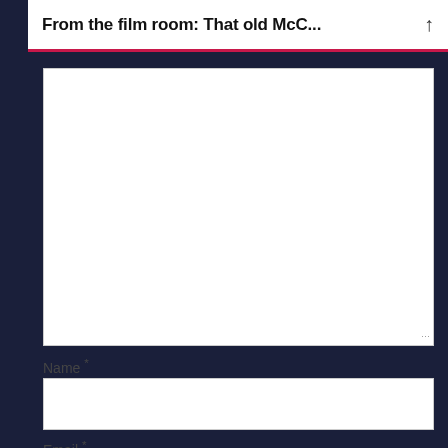From the film room: That old McC...
[Figure (screenshot): Empty textarea input box for comment submission]
Name *
[Figure (screenshot): Empty text input field for Name]
Email *
[Figure (screenshot): Empty text input field for Email (partially visible)]